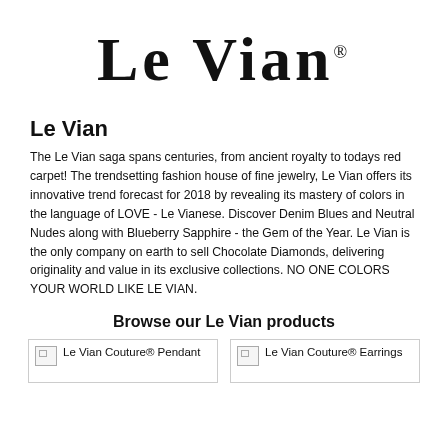[Figure (logo): Le Vian brand logo in large serif bold font with registered trademark symbol]
Le Vian
The Le Vian saga spans centuries, from ancient royalty to todays red carpet! The trendsetting fashion house of fine jewelry, Le Vian offers its innovative trend forecast for 2018 by revealing its mastery of colors in the language of LOVE - Le Vianese. Discover Denim Blues and Neutral Nudes along with Blueberry Sapphire - the Gem of the Year. Le Vian is the only company on earth to sell Chocolate Diamonds, delivering originality and value in its exclusive collections. NO ONE COLORS YOUR WORLD LIKE LE VIAN.
Browse our Le Vian products
[Figure (photo): Le Vian Couture® Pendant product image placeholder]
[Figure (photo): Le Vian Couture® Earrings product image placeholder]